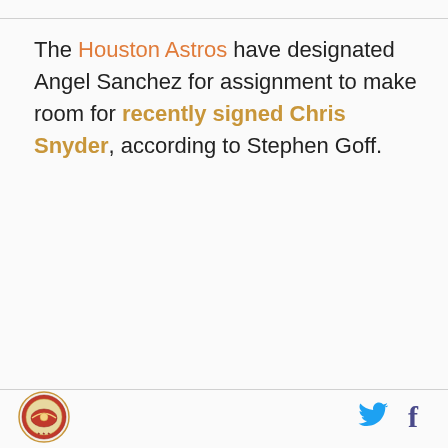The Houston Astros have designated Angel Sanchez for assignment to make room for recently signed Chris Snyder, according to Stephen Goff.
[Figure (logo): Circular logo emblem with red and gold design]